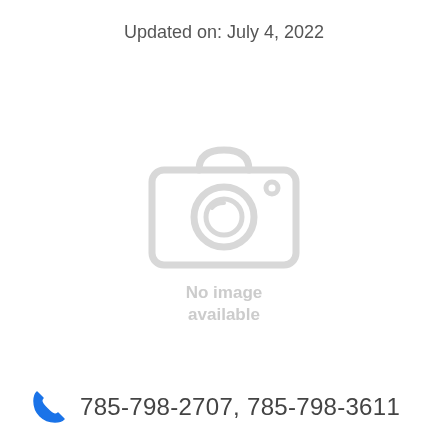Updated on: July 4, 2022
[Figure (illustration): Camera icon placeholder indicating no image available, with text 'No image available' below it]
785-798-2707, 785-798-3611